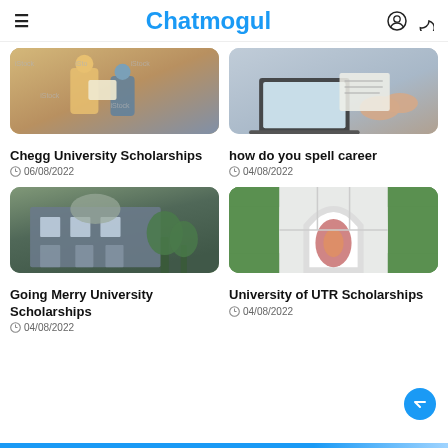Chatmogul
[Figure (photo): Two people reviewing documents, iStock watermark visible]
Chegg University Scholarships
06/08/2022
[Figure (photo): Hands working on papers near laptop, iStock watermark visible]
how do you spell career
04/08/2022
[Figure (photo): University building exterior with trees and dome]
Going Merry University Scholarships
04/08/2022
[Figure (photo): Aerial view of garden with arch pathway and flowers]
University of UTR Scholarships
04/08/2022